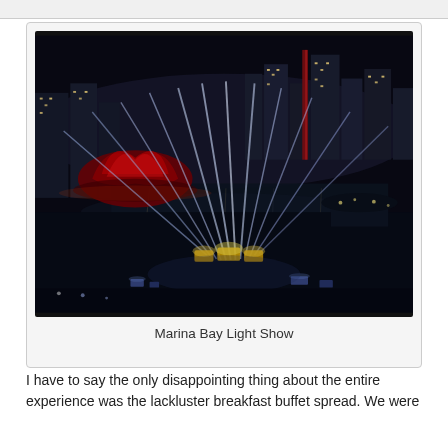[Figure (photo): Night aerial view of Marina Bay Singapore with light show beams, ArtScience Museum illuminated in red on the left, city skyline with lit skyscrapers reflected in the water, and bright stage lights fanning upward from a central point in the foreground.]
Marina Bay Light Show
I have to say the only disappointing thing about the entire experience was the lackluster breakfast buffet spread. We were